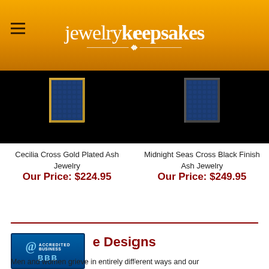jewelrykeepsakes
[Figure (photo): Cecilia Cross Gold Plated Ash Jewelry product image on black background]
Cecilia Cross Gold Plated Ash Jewelry
Our Price: $224.95
[Figure (photo): Midnight Seas Cross Black Finish Ash Jewelry product image on black background]
Midnight Seas Cross Black Finish Ash Jewelry
Our Price: $249.95
e Designs
[Figure (logo): BBB Accredited Business badge]
Men and women grieve in entirely different ways and our